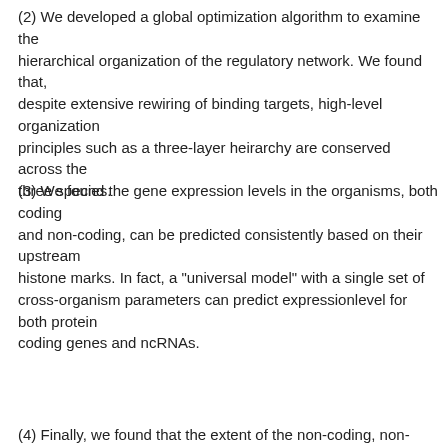(2) We developed a global optimization algorithm to examine the hierarchical organization of the regulatory network. We found that, despite extensive rewiring of binding targets, high-level organization principles such as a three-layer heirarchy are conserved across the three species.
(3) We found the gene expression levels in the organisms, both coding and non-coding, can be predicted consistently based on their upstream histone marks. In fact, a "universal model" with a single set of cross-organism parameters can predict expressionlevel for both protein coding genes and ncRNAs.
(4) Finally, we found that the extent of the non-coding, non-